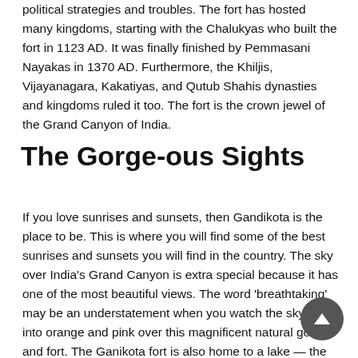political strategies and troubles. The fort has hosted many kingdoms, starting with the Chalukyas who built the fort in 1123 AD. It was finally finished by Pemmasani Nayakas in 1370 AD. Furthermore, the Khiljis, Vijayanagara, Kakatiyas, and Qutub Shahis dynasties and kingdoms ruled it too. The fort is the crown jewel of the Grand Canyon of India.
The Gorge-ous Sights
If you love sunrises and sunsets, then Gandikota is the place to be. This is where you will find some of the best sunrises and sunsets you will find in the country. The sky over India's Grand Canyon is extra special because it has one of the most beautiful views. The word 'breathtaking' may be an understatement when you watch the sky melt into orange and pink over this magnificent natural gorge and fort. The Ganikota fort is also home to a lake — the Rayalacheruvu lake was established by king Sri Krishnadevaraya of the Vijayanagara dynasty. The lake is